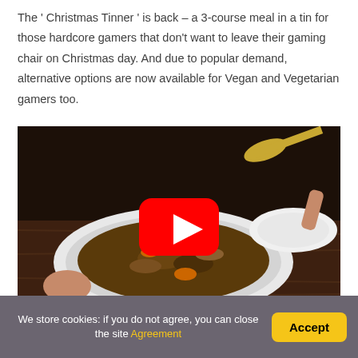The ' Christmas Tinner ' is back – a 3-course meal in a tin for those hardcore gamers that don't want to leave their gaming chair on Christmas day. And due to popular demand, alternative options are now available for Vegan and Vegetarian gamers too.
[Figure (screenshot): Video thumbnail of a Christmas dinner stew served on a decorated plate with a YouTube play button overlay. Person holding a spoon and plate visible in background.]
We store cookies: if you do not agree, you can close the site Agreement